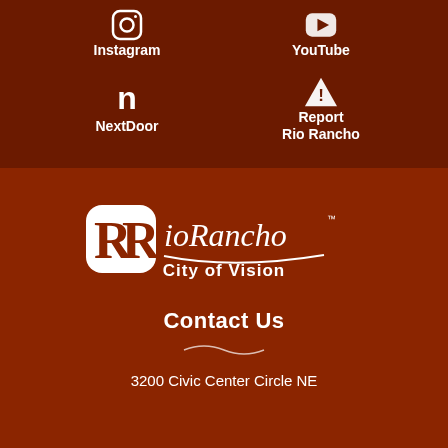[Figure (logo): Instagram icon (camera outline SVG)]
Instagram
[Figure (logo): YouTube play button icon SVG]
YouTube
[Figure (logo): NextDoor 'n' letter icon]
NextDoor
[Figure (logo): Alert triangle warning icon]
Report Rio Rancho
[Figure (logo): Rio Rancho City of Vision logo with RR initials and script text]
Contact Us
3200 Civic Center Circle NE